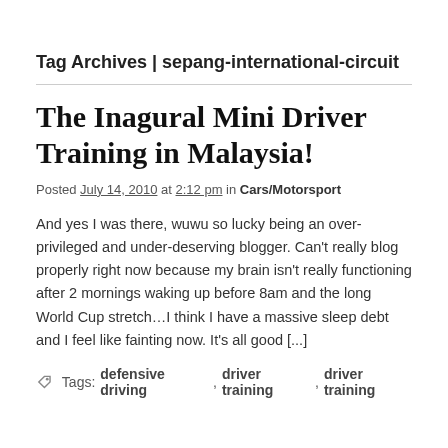Tag Archives | sepang-international-circuit
The Inagural Mini Driver Training in Malaysia!
Posted July 14, 2010 at 2:12 pm in Cars/Motorsport
And yes I was there, wuwu so lucky being an over-privileged and under-deserving blogger. Can't really blog properly right now because my brain isn't really functioning after 2 mornings waking up before 8am and the long World Cup stretch...I think I have a massive sleep debt and I feel like fainting now. It's all good [...]
Tags: defensive driving, driver training, driver training